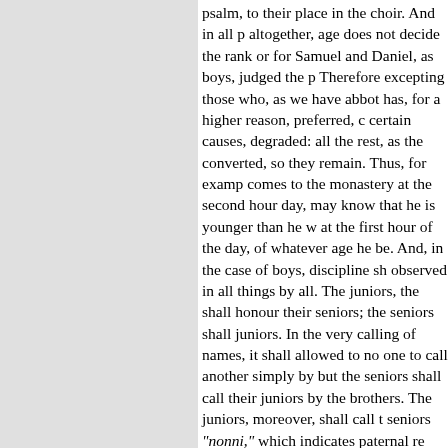psalm, to their place in the choir. And in all altogether, age does not decide the rank or for Samuel and Daniel, as boys, judged the p Therefore excepting those who, as we have abbot has, for a higher reason, preferred, c certain causes, degraded: all the rest, as the converted, so they remain. Thus, for examp comes to the monastery at the second hour day, may know that he is younger than he w at the first hour of the day, of whatever age he be. And, in the case of boys, discipline sh observed in all things by all. The juniors, the shall honour their seniors; the seniors shall juniors. In the very calling of names, it shall allowed to no one to call another simply by but the seniors shall call their juniors by the brothers. The juniors, moreover, shall call t seniors “nonni,” which indicates paternal re The abbot, moreover, because he is believe Christ’s representative, shall be called Mast